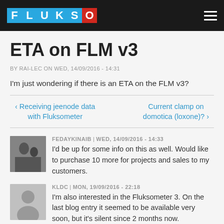FLUKSO
ETA on FLM v3
BY RAI-LEC ON WED, 14/09/2016 - 14:31
I'm just wondering if there is an ETA on the FLM v3?
‹ Receiving jeenode data with Fluksometer | Current clamp on domotica (loxone)? ›
FEDAYKINAIB | WED, 14/09/2016 - 14:33
I'd be up for some info on this as well. Would like to purchase 10 more for projects and sales to my customers.
KLDC | MON, 19/09/2016 - 22:18
I'm also interested in the Fluksometer 3. On the last blog entry it seemed to be available very soon, but it's silent since 2 months now.